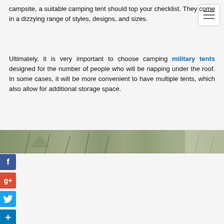campsite, a suitable camping tent should top your checklist. They come in a dizzying range of styles, designs, and sizes.
Ultimately, it is very important to choose camping military tents designed for the number of people who will be napping under the roof. In some cases, it will be more convenient to have multiple tents, which also allow for additional storage space.
[Figure (photo): A horizontal photo strip showing a campsite or outdoor scene with trees and some tent/shelter visible, muted green and grey tones.]